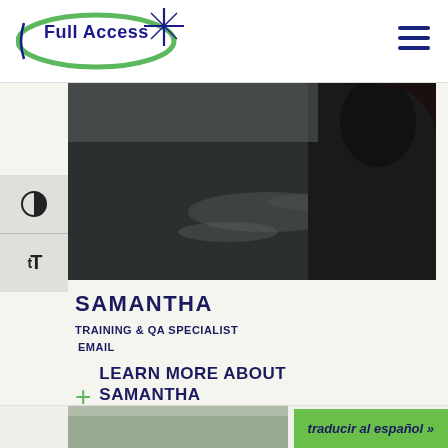[Figure (logo): Full Access logo with green oval and blue text, star graphic]
[Figure (photo): Person silhouetted against water/lake background, dark photo]
SAMANTHA
TRAINING & QA SPECIALIST
EMAIL
+ LEARN MORE ABOUT SAMANTHA
traducir al español »